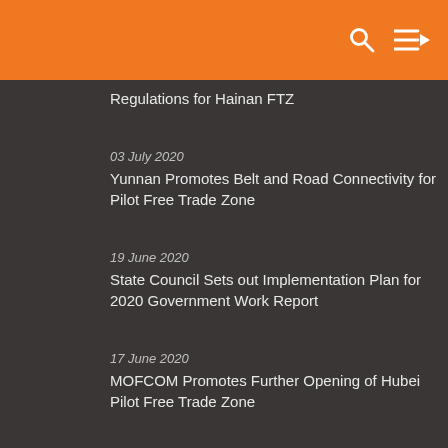Regulations for Hainan FTZ
03 July 2020
Yunnan Promotes Belt and Road Connectivity for Pilot Free Trade Zone
19 June 2020
State Council Sets out Implementation Plan for 2020 Government Work Report
17 June 2020
MOFCOM Promotes Further Opening of Hubei Pilot Free Trade Zone